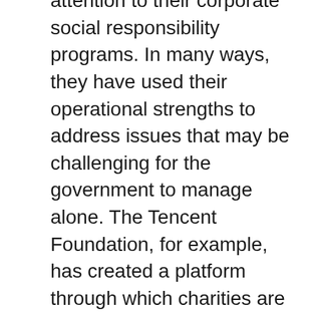attention to their corporate social responsibility programs. In many ways, they have used their operational strengths to address issues that may be challenging for the government to manage alone. The Tencent Foundation, for example, has created a platform through which charities are vetted for credibility, and through which they can receive donations. The Alibaba Foundation aims to promote entrepreneurship among the poor and rural population, with initiatives that focus on environmental protection and civil well-being. “We are dedicated to eliminating poverty, not eliminating poor people,” says Sun Lijun, head of Alibaba’s CSR efforts.